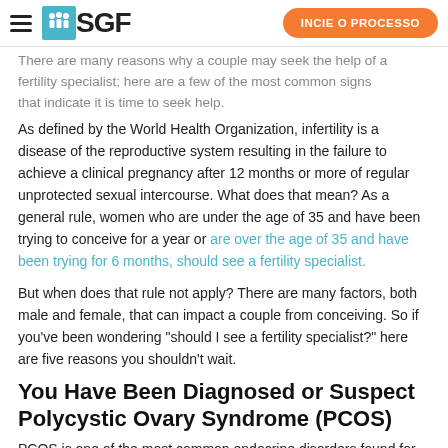SGF — INCIE O PROCESSO
There are many reasons why a couple may seek the help of a fertility specialist; here are a few of the most common signs that indicate it is time to seek help.
As defined by the World Health Organization, infertility is a disease of the reproductive system resulting in the failure to achieve a clinical pregnancy after 12 months or more of regular unprotected sexual intercourse. What does that mean? As a general rule, women who are under the age of 35 and have been trying to conceive for a year or are over the age of 35 and have been trying for 6 months, should see a fertility specialist.
But when does that rule not apply? There are many factors, both male and female, that can impact a couple from conceiving. So if you’ve been wondering “should I see a fertility specialist?” here are five reasons you shouldn’t wait.
You Have Been Diagnosed or Suspect Polycystic Ovary Syndrome (PCOS)
PCOS is one of the most common endocrine disorders found for...